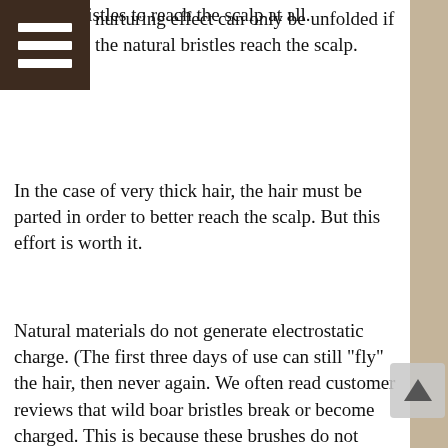natural bristles to reach the scalp at all.
[Figure (other): Brown menu/hamburger icon (three horizontal white lines on dark brown background)]
nurturing effect can only be unfolded if the natural bristles reach the scalp.
In the case of very thick hair, the hair must be parted in order to better reach the scalp. But this effort is worth it.
Natural materials do not generate electrostatic charge. (The first three days of use can still "fly" the hair, then never again. We often read customer reviews that wild boar bristles break or become charged. This is because these brushes do not contain 100 % of the wild boar bristles!)
The wild boar bristles have a length of 0.98 inch.
Wooden body made of lacquered beech wood (PEFC certified). The handle lies comfortably and securely in the hand and the pressure on the scalp can be